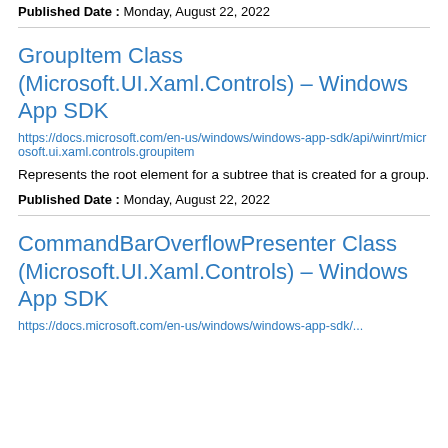Published Date : Monday, August 22, 2022
GroupItem Class (Microsoft.UI.Xaml.Controls) - Windows App SDK
https://docs.microsoft.com/en-us/windows/windows-app-sdk/api/winrt/microsoft.ui.xaml.controls.groupitem
Represents the root element for a subtree that is created for a group.
Published Date : Monday, August 22, 2022
CommandBarOverflowPresenter Class (Microsoft.UI.Xaml.Controls) - Windows App SDK
https://docs.microsoft.com/en-us/windows/windows-app-sdk/...